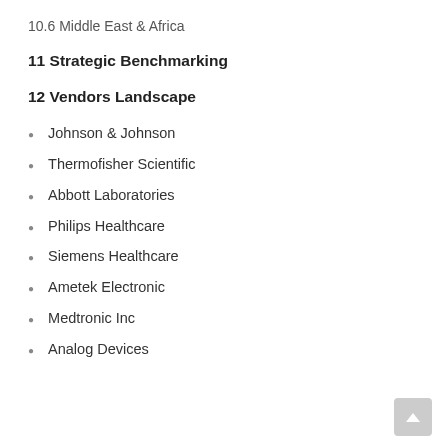10.6 Middle East & Africa
11 Strategic Benchmarking
12 Vendors Landscape
Johnson & Johnson
Thermofisher Scientific
Abbott Laboratories
Philips Healthcare
Siemens Healthcare
Ametek Electronic
Medtronic Inc
Analog Devices